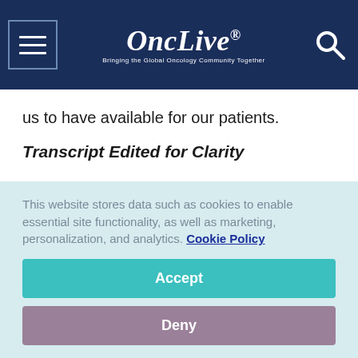OncLive® — Bringing the Global Oncology Community Together
us to have available for our patients.
Transcript Edited for Clarity
Related Content: Expanding Treatment Options for Metastatic Breast Cancer | Breast Cancer | Supportive Care | Oncology Nursing News | Neoadjuvant HER2+
This website stores data such as cookies to enable essential site functionality, as well as marketing, personalization, and analytics. Cookie Policy
Accept
Deny